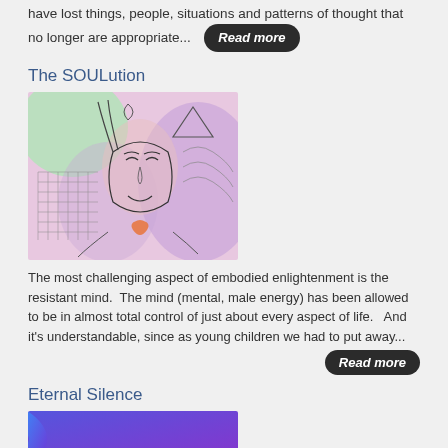have lost things, people, situations and patterns of thought that no longer are appropriate...
[Figure (illustration): Colorful artistic illustration of a woman's face with green and purple hues, geometric shapes including triangles in the background, and an orange heart-like shape on her chest. Line drawing style with watercolor-like fills.]
The SOULution
The most challenging aspect of embodied enlightenment is the resistant mind.  The mind (mental, male energy) has been allowed to be in almost total control of just about every aspect of life.   And it's understandable, since as young children we had to put away...
Eternal Silence
[Figure (illustration): Abstract illustration with blue and purple gradient background and a curved arc shape on the left side.]